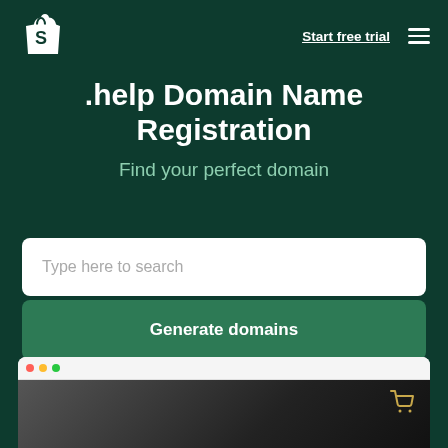[Figure (logo): Shopify shopping bag logo in white]
Start free trial
.help Domain Name Registration
Find your perfect domain
Type here to search
Generate domains
[Figure (screenshot): Browser mockup window showing a dark e-commerce product page with a shopping cart icon]